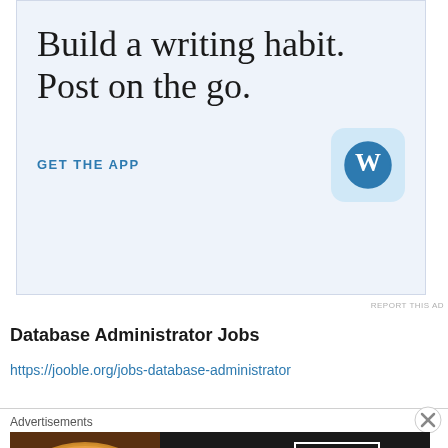[Figure (illustration): WordPress app advertisement with light blue background. Headline reads 'Build a writing habit. Post on the go.' with 'GET THE APP' link and WordPress W logo icon.]
REPORT THIS AD
Database Administrator Jobs
https://jooble.org/jobs-database-administrator
[Figure (illustration): Seamless food delivery advertisement with dark background, pizza image on left, Seamless red logo in center, and 'ORDER NOW' button on right.]
Advertisements